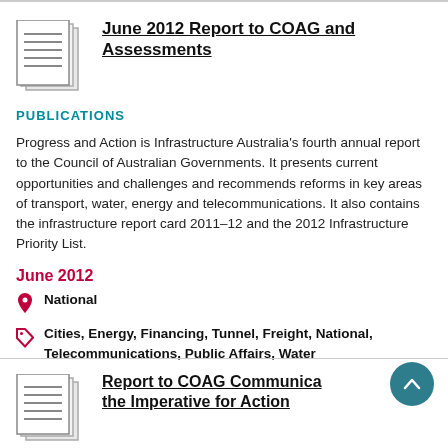June 2012 Report to COAG and Assessments
PUBLICATIONS
Progress and Action is Infrastructure Australia's fourth annual report to the Council of Australian Governments. It presents current opportunities and challenges and recommends reforms in key areas of transport, water, energy and telecommunications. It also contains the infrastructure report card 2011–12 and the 2012 Infrastructure Priority List.
June 2012
National
Cities, Energy, Financing, Tunnel, Freight, National, Telecommunications, Public Affairs, Water
Report to COAG Communicating the Imperative for Action
PUBLICATIONS